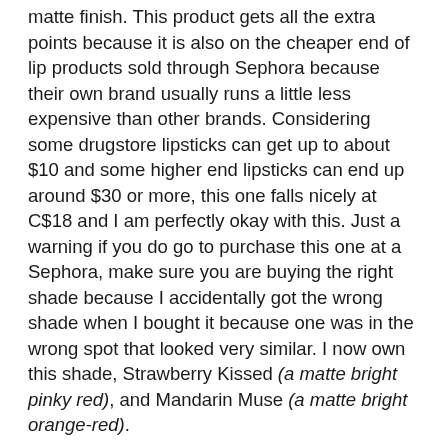matte finish. This product gets all the extra points because it is also on the cheaper end of lip products sold through Sephora because their own brand usually runs a little less expensive than other brands. Considering some drugstore lipsticks can get up to about $10 and some higher end lipsticks can end up around $30 or more, this one falls nicely at C$18 and I am perfectly okay with this. Just a warning if you do go to purchase this one at a Sephora, make sure you are buying the right shade because I accidentally got the wrong shade when I bought it because one was in the wrong spot that looked very similar. I now own this shade, Strawberry Kissed (a matte bright pinky red), and Mandarin Muse (a matte bright orange-red).
I reached way back into my lip product collection lately and pulled out a product that I did not give enough love to when I first purchased it. The Too Faced Melted Liquified Long Wear Lipstick in Melted Fig is my current favourite when it comes to a berry lip colour. This muted purple-mauve shade is a great long wearing lipstick that really adds that extra punch to a normal everyday look. I have my eye on the Melted Nude shade, but Sephora was out of stock last time I went in to take a look at it. It will be a